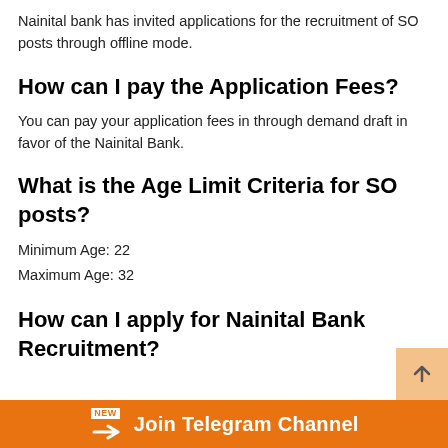Nainital bank has invited applications for the recruitment of SO posts through offline mode.
How can I pay the Application Fees?
You can pay your application fees in through demand draft in favor of the Nainital Bank.
What is the Age Limit Criteria for SO posts?
Minimum Age: 22
Maximum Age: 32
How can I apply for Nainital Bank Recruitment?
Join Telegram Channel